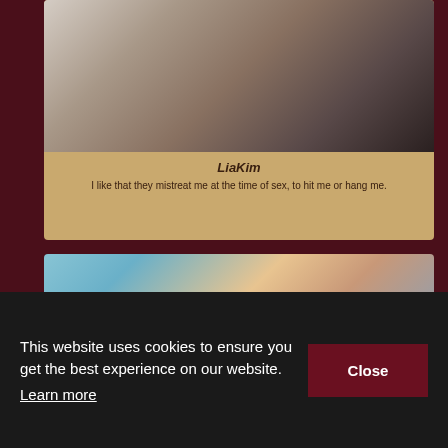[Figure (photo): Profile photo of LiaKim, a woman smiling in a patterned jacket seated in a black chair]
LiaKim
I like that they mistreat me at the time of sex, to hit me or hang me.
[Figure (photo): Photo of a person with short orange hair seated on a pink couch against a blue textured background]
[Figure (photo): Partial photo visible at bottom of page]
This website uses cookies to ensure you get the best experience on our website.
Learn more